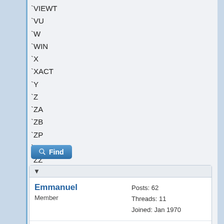`VIEWT
`VU
`W
`WIN
`X
`XACT
`Y
`Z
`ZA
`ZB
`ZP
`ZQ
`ZZ
Find
Emmanuel
Member
Posts: 62
Threads: 11
Joined: Jan 1970
09-07-2002, 03:53 AM
#18